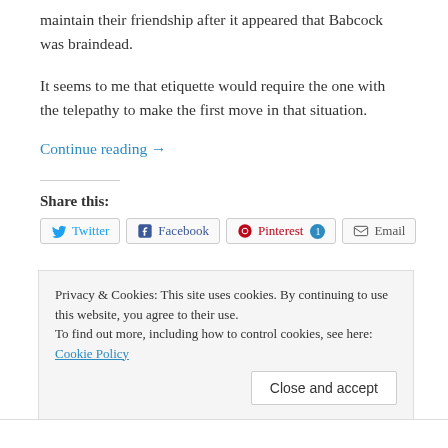maintain their friendship after it appeared that Babcock was braindead.
It seems to me that etiquette would require the one with the telepathy to make the first move in that situation.
Continue reading →
Share this:
Twitter Facebook Pinterest 1 Email
Privacy & Cookies: This site uses cookies. By continuing to use this website, you agree to their use.
To find out more, including how to control cookies, see here: Cookie Policy
Close and accept